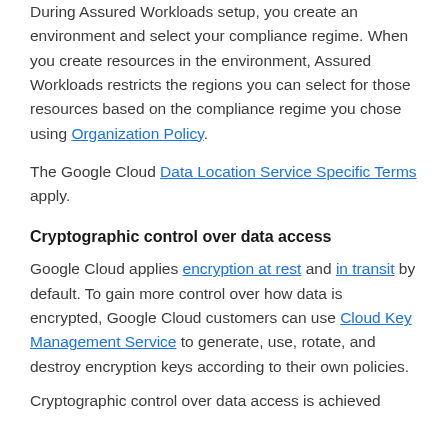During Assured Workloads setup, you create an environment and select your compliance regime. When you create resources in the environment, Assured Workloads restricts the regions you can select for those resources based on the compliance regime you chose using Organization Policy.
The Google Cloud Data Location Service Specific Terms apply.
Cryptographic control over data access
Google Cloud applies encryption at rest and in transit by default. To gain more control over how data is encrypted, Google Cloud customers can use Cloud Key Management Service to generate, use, rotate, and destroy encryption keys according to their own policies.
Cryptographic control over data access is achieved